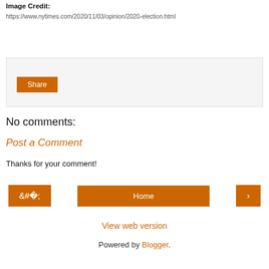Image Credit:
https://www.nytimes.com/2020/11/03/opinion/2020-election.html
[Figure (other): Share box with orange Share button on light gray background]
No comments:
Post a Comment
Thanks for your comment!
< Home >
View web version
Powered by Blogger.